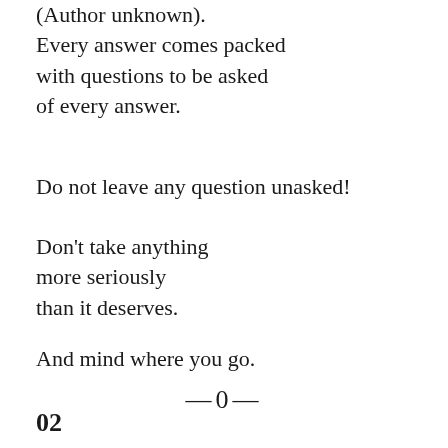(Author unknown).
Every answer comes packed with questions to be asked of every answer.
Do not leave any question unasked!
Don't take anything more seriously than it deserves.
And mind where you go.
—0—
02